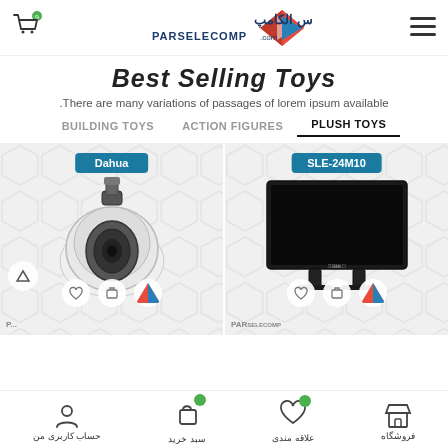PARSELECOMP header with cart, logo, and menu
Best Selling Toys
There are many variations of passages of lorem ipsum available.
BUILDING TOYS  ACTION FIGURES  PLUSH TOYS
[Figure (photo): Dahua PTZ security camera product image on hexagon-patterned background with action icons]
[Figure (photo): SLE-24M10 television product image on hexagon-patterned background with action icons]
حساب کاربری من  سبد خرید  علاقه مندی  فروشگاه